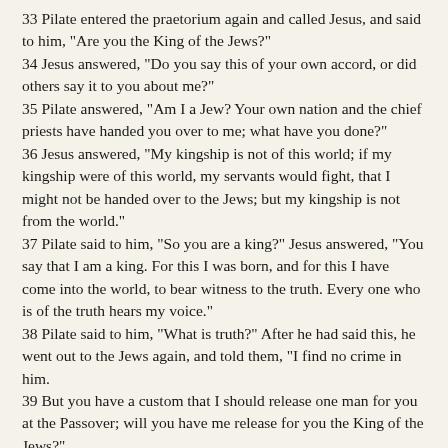33 Pilate entered the praetorium again and called Jesus, and said to him, "Are you the King of the Jews?"
34 Jesus answered, "Do you say this of your own accord, or did others say it to you about me?"
35 Pilate answered, "Am I a Jew? Your own nation and the chief priests have handed you over to me; what have you done?"
36 Jesus answered, "My kingship is not of this world; if my kingship were of this world, my servants would fight, that I might not be handed over to the Jews; but my kingship is not from the world."
37 Pilate said to him, "So you are a king?" Jesus answered, "You say that I am a king. For this I was born, and for this I have come into the world, to bear witness to the truth. Every one who is of the truth hears my voice."
38 Pilate said to him, "What is truth?" After he had said this, he went out to the Jews again, and told them, "I find no crime in him.
39 But you have a custom that I should release one man for you at the Passover; will you have me release for you the King of the Jews?"
40 They cried out again, "Not this man, but Barab'bas!" Now Barab'bas was a robber.
1 Then Pilate took Jesus and scourged him.